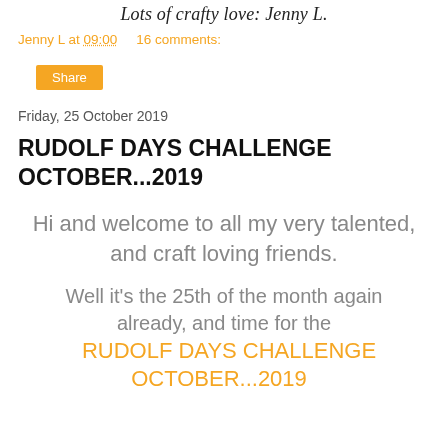Lots of crafty love: Jenny L.
Jenny L at 09:00    16 comments:
Share
Friday, 25 October 2019
RUDOLF DAYS CHALLENGE OCTOBER...2019
Hi and welcome to all my very talented, and craft loving friends.
Well it's the 25th of the month again already, and time for the RUDOLF DAYS CHALLENGE OCTOBER...2019